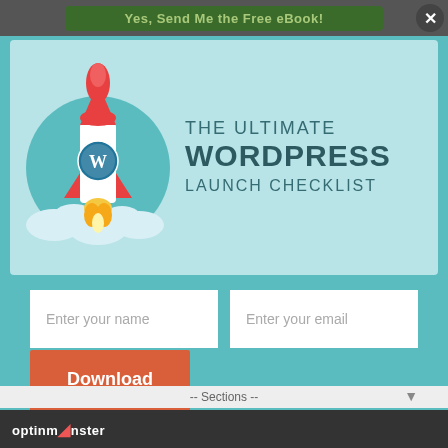Yes, Send Me the Free eBook!
[Figure (illustration): Rocket ship with WordPress logo launching upward from clouds, on a teal circular background]
THE ULTIMATE WORDPRESS LAUNCH CHECKLIST
Enter your name
Enter your email
Download Now
optinmonster